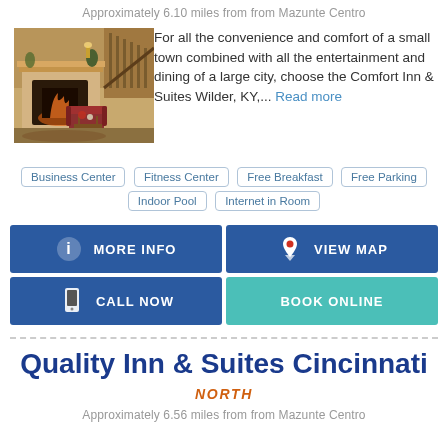Approximately 6.10 miles from from Mazunte Centro
[Figure (photo): Hotel interior photo showing a fireplace with wooden mantel, armchair, and decorative plants in a lobby setting]
For all the convenience and comfort of a small town combined with all the entertainment and dining of a large city, choose the Comfort Inn & Suites Wilder, KY,... Read more
Business Center
Fitness Center
Free Breakfast
Free Parking
Indoor Pool
Internet in Room
MORE INFO
VIEW MAP
CALL NOW
BOOK ONLINE
Quality Inn & Suites Cincinnati
NORTH
Approximately 6.56 miles from from Mazunte Centro